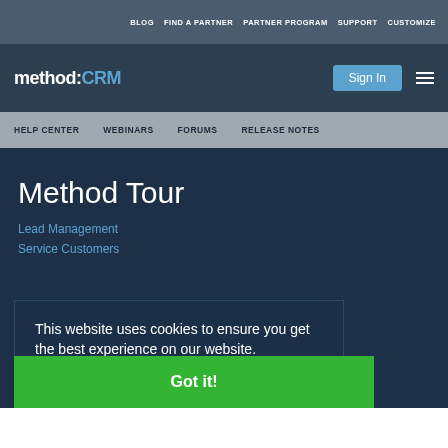BLOG  FIND A PARTNER  PARTNER PROGRAM  SUPPORT  CUSTOMIZE
method:CRM  Sign In
HELP CENTER  WEBINARS  FORUMS  RELEASE NOTES
Method Tour
Lead Management
Service Customers
This website uses cookies to ensure you get the best experience on our website.
Learn more
Got it!